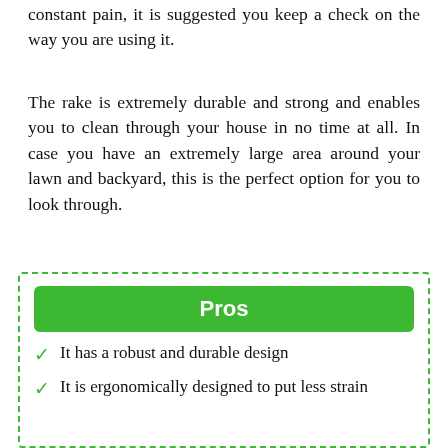constant pain, it is suggested you keep a check on the way you are using it.
The rake is extremely durable and strong and enables you to clean through your house in no time at all. In case you have an extremely large area around your lawn and backyard, this is the perfect option for you to look through.
It has a robust and durable design
It is ergonomically designed to put less strain